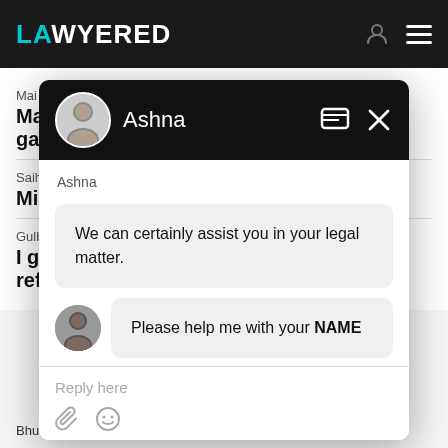LAWYERED
Mai
Mar gan
Saih
Miz
Gulb
I go ref
[Figure (screenshot): Chat modal popup with Ashna agent. Contains chat messages: 'We can certainly assist you in your legal matter.' and 'Please help me with your NAME'. Reply input area with attachment and emoji icons.]
Bhubaneswar,  07 Jul, 2021,  (1 year, 1 month ago)